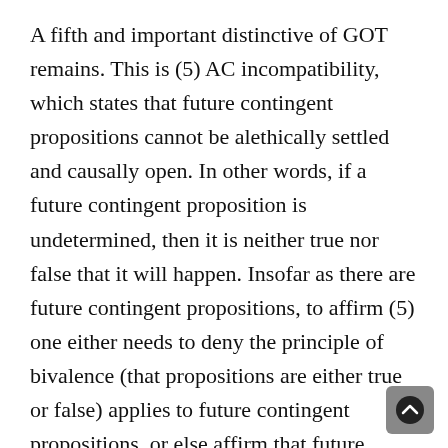A fifth and important distinctive of GOT remains. This is (5) AC incompatibility, which states that future contingent propositions cannot be alethically settled and causally open. In other words, if a future contingent proposition is undetermined, then it is neither true nor false that it will happen. Insofar as there are future contingent propositions, to affirm (5) one either needs to deny the principle of bivalence (that propositions are either true or false) applies to future contingent propositions, or else affirm that future contingent propositions are not contradictory to each other, but only contrary. Alternatively, some Open Theists have rejected (5) by affirming that future contingent propositions are alethically settled and